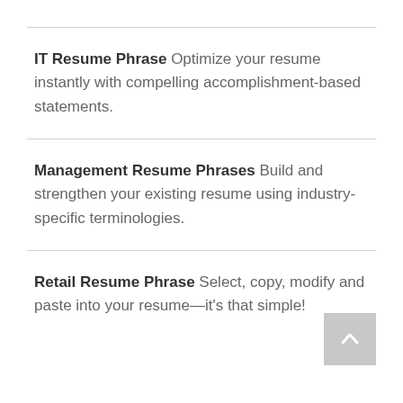IT Resume Phrase Optimize your resume instantly with compelling accomplishment-based statements.
Management Resume Phrases Build and strengthen your existing resume using industry-specific terminologies.
Retail Resume Phrase Select, copy, modify and paste into your resume—it's that simple!